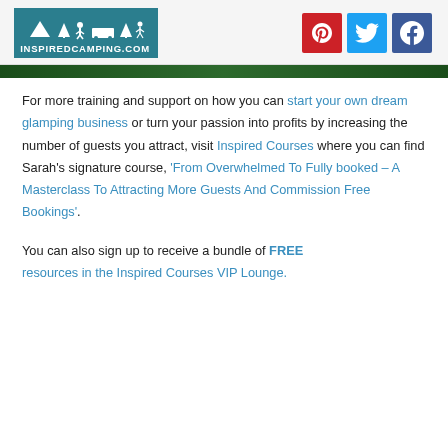INSPIREDCAMPING.COM — social icons: Pinterest, Twitter, Facebook
[Figure (photo): Green banner image strip at top of content area]
For more training and support on how you can start your own dream glamping business or turn your passion into profits by increasing the number of guests you attract, visit Inspired Courses where you can find Sarah's signature course, ‘From Overwhelmed To Fully booked – A Masterclass To Attracting More Guests And Commission Free Bookings’.
You can also sign up to receive a bundle of FREE resources in the Inspired Courses VIP Lounge.